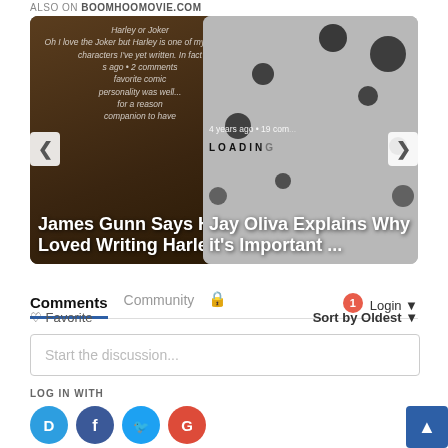ALSO ON BOOMHOOMOVIE.COM
[Figure (screenshot): Carousel of article cards. Left card: 'James Gunn Says He Loved Writing Harley...' with italic overlay text about Harley Quinn. Right card: 'Jay Oliva Explains Why it's Important...' with loading dots. Navigation arrows on sides. Left card shows '...s ago • 2 comments', right card shows '4 years ago • 19 com...']
Comments  Community 🔒  1  Login
♡ Favorite  Sort by Oldest
Start the discussion...
LOG IN WITH
[Figure (logo): Social login icons: Disqus (D), Facebook (F), Twitter bird, Google (G)]